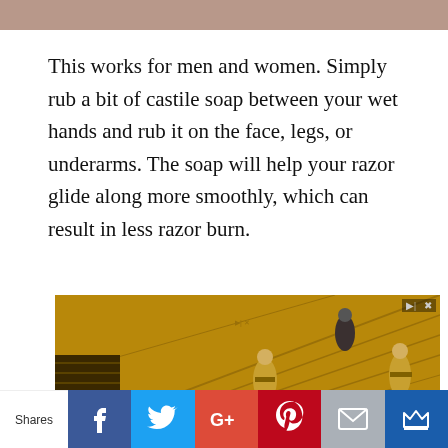[Figure (photo): Top portion of a photo, partially cropped — appears to show a person's face/head area with warm skin tones]
This works for men and women. Simply rub a bit of castile soap between your wet hands and rub it on the face, legs, or underarms. The soap will help your razor glide along more smoothly, which can result in less razor burn.
[Figure (photo): Advertisement image showing construction workers in yellow/golden tones on what appears to be a rooftop or large flat surface, viewed from above. Workers wearing hard hats.]
Shares | Facebook | Twitter | Google+ | Pinterest | Email | Crown